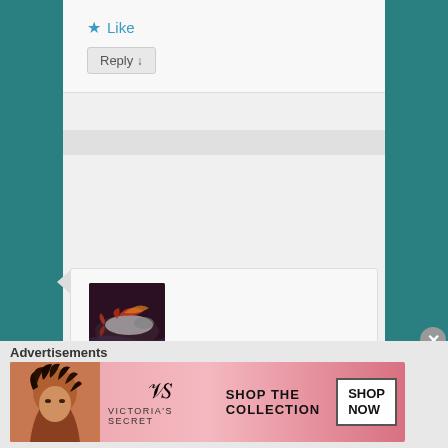[Figure (screenshot): Partial comment card showing Like button and Reply button]
Like
Reply ↓
[Figure (illustration): User avatar image showing colorful fish/nature painting on dark background]
Genevieve Woods on August 14, 2021 at 9:22 am said:
Ah the era of landlines...
Like
Reply ↓
Advertisements
[Figure (photo): Victoria's Secret advertisement banner: Shop The Collection — Shop Now]